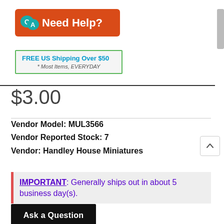[Figure (logo): Need Help? Q&A banner with orange/red background and speech bubbles]
[Figure (infographic): FREE US Shipping Over $50 * Most Items, EVERYDAY promotional banner with green border]
$3.00
Vendor Model: MUL3566
Vendor Reported Stock: 7
Vendor: Handley House Miniatures
IMPORTANT: Generally ships out in about 5 business day(s).
Ask a Question